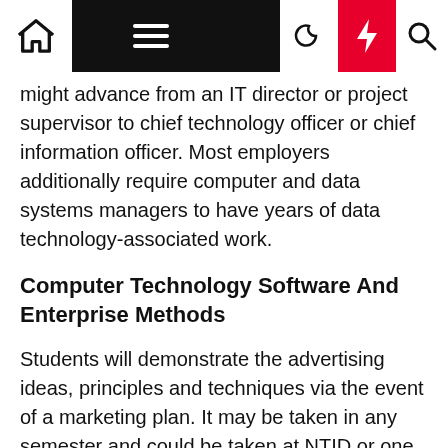Navigation bar with home, menu, dark mode, flash, and search icons
might advance from an IT director or project supervisor to chief technology officer or chief information officer. Most employers additionally require computer and data systems managers to have years of data technology-associated work.
Computer Technology Software And Enterprise Methods
Students will demonstrate the advertising ideas, principles and techniques via the event of a marketing plan. It may be taken in any semester and could be taken at NTID or one other faculty of RIT. In order to fulfill this requirement as a part of the credit score hours in this system Computer, it may be a course accredited for each AASASLDCS and General Education – Perspective or General Education – Elective. Networking and security that